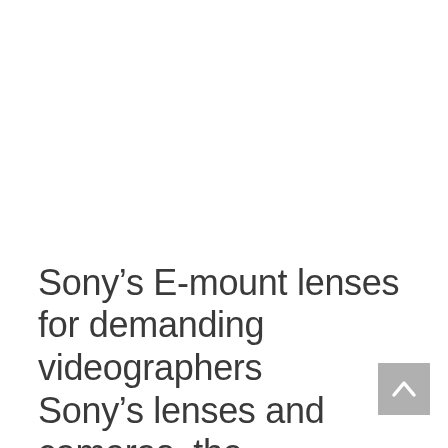Sony’s E-mount lenses for demanding videographers
[Figure (other): Scroll-to-top button with upward chevron arrow on grey background]
Sony’s lenses and cameras, the best combination for video…